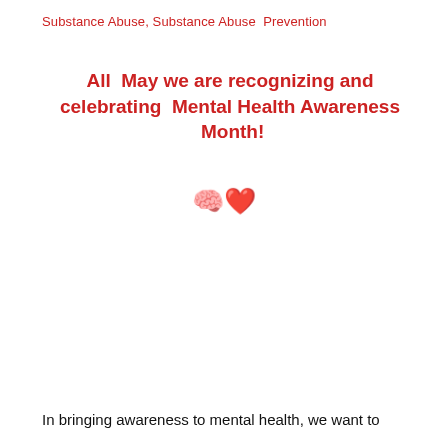Substance Abuse, Substance Abuse Prevention
All May we are recognizing and celebrating Mental Health Awareness Month!
[Figure (illustration): Brain emoji and red heart emoji]
In bringing awareness to mental health, we want to